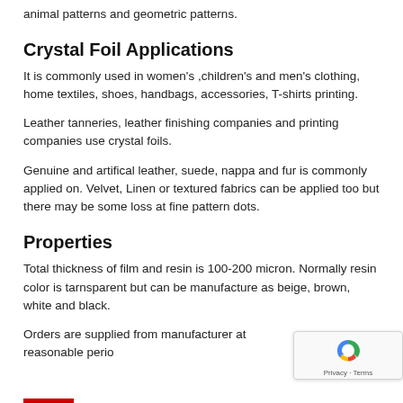animal patterns and geometric patterns.
Crystal Foil Applications
It is commonly used in women's ,children's and men's clothing, home textiles, shoes, handbags, accessories, T-shirts printing.
Leather tanneries, leather finishing companies and printing companies use crystal foils.
Genuine and artifical leather, suede, nappa and fur is commonly applied on. Velvet, Linen or textured fabrics can be applied too but there may be some loss at fine pattern dots.
Properties
Total thickness of film and resin is 100-200 micron. Normally resin color is tarnsparent but can be manufacture as beige, brown, white and black.
Orders are supplied from manufacturer at reasonable perio